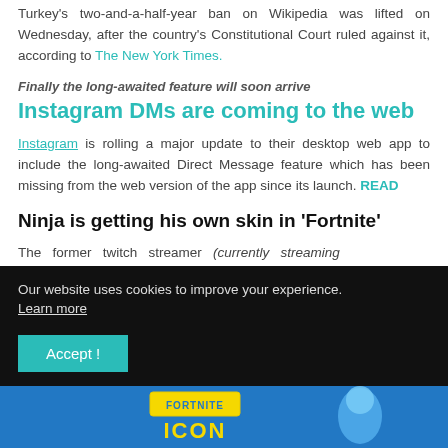Turkey's two-and-a-half-year ban on Wikipedia was lifted on Wednesday, after the country's Constitutional Court ruled against it, according to The New York Times.
Finally the long-awaited feature will soon arrive
Instagram DMs are coming to the web
Instagram is rolling a major update to their desktop web app to include the long-awaited Direct Message feature which has been missing from the web version of the app since its launch. READ
Ninja is getting his own skin in 'Fortnite'
The former twitch streamer (currently streaming
Our website uses cookies to improve your experience. Learn more
Accept !
[Figure (screenshot): Fortnite game advertisement banner with blue background and logo]